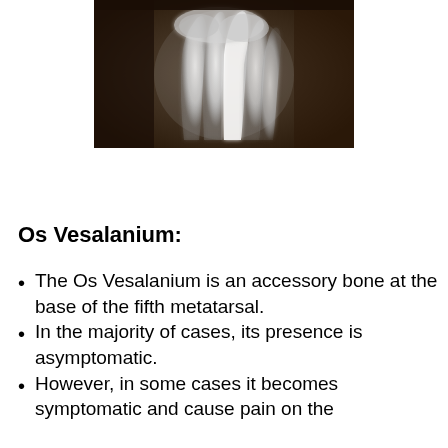[Figure (photo): X-ray image of a foot showing bones, centered at the top of the page, with dark background and bright white bone structures visible.]
Os Vesalanium:
The Os Vesalanium is an accessory bone at the base of the fifth metatarsal.
In the majority of cases, its presence is asymptomatic.
However, in some cases it becomes symptomatic and cause pain on the